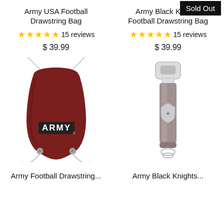Army USA Football Drawstring Bag
★★★★★ 15 reviews
$ 39.99
Army Black Knights Football Drawstring Bag
★★★★★ 15 reviews
$ 39.99
Sold Out
[Figure (photo): Dark red/maroon Army USA Football drawstring bag with ARMY text logo on front]
[Figure (photo): Silver/grey Army Black Knights bottle opener with shield logo and strap]
Army Football Drawstring...
Army Black Knights...